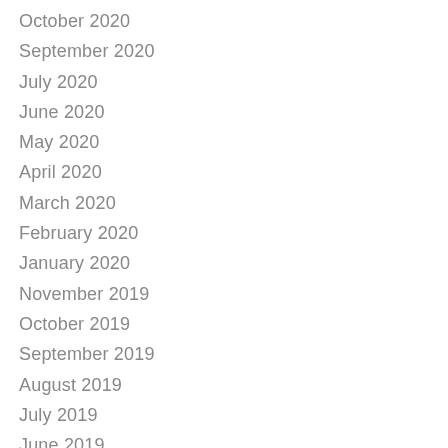October 2020
September 2020
July 2020
June 2020
May 2020
April 2020
March 2020
February 2020
January 2020
November 2019
October 2019
September 2019
August 2019
July 2019
June 2019
May 2019
April 2019